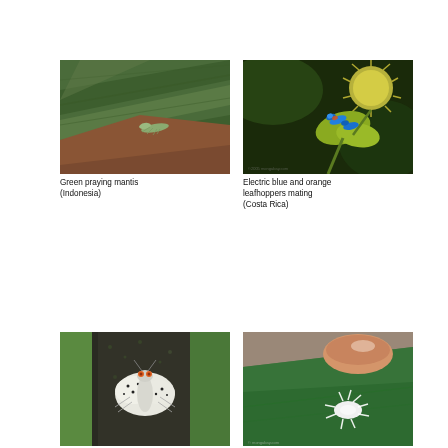[Figure (photo): Green praying mantis resting on a large green leaf (Indonesia)]
Green praying mantis (Indonesia)
[Figure (photo): Electric blue and orange leafhoppers mating on a plant stem with a spiky seed head (Costa Rica)]
Electric blue and orange leafhoppers mating (Costa Rica)
[Figure (photo): White planthopper with orange eyes on a dark mossy surface (China)]
White planthopper with orange eyes (China)
[Figure (photo): White fluffy nymph on a green leaf held between fingers (Colombia)]
White nymph (Colombia)